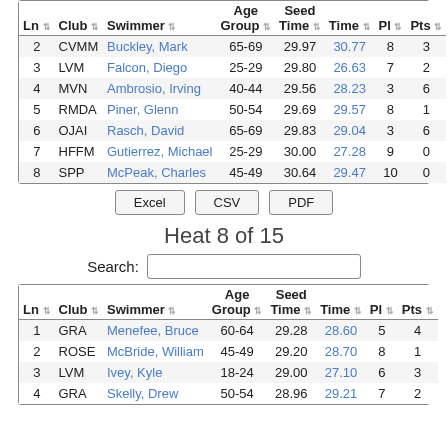| Ln | Club | Swimmer | Age Group | Seed Time | Time | Pl | Pts |
| --- | --- | --- | --- | --- | --- | --- | --- |
| 2 | CVMM | Buckley, Mark | 65-69 | 29.97 | 30.77 | 8 | 3 |
| 3 | LVM | Falcon, Diego | 25-29 | 29.80 | 26.63 | 7 | 2 |
| 4 | MVN | Ambrosio, Irving | 40-44 | 29.56 | 28.23 | 3 | 6 |
| 5 | RMDA | Piner, Glenn | 50-54 | 29.69 | 29.57 | 8 | 1 |
| 6 | OJAI | Rasch, David | 65-69 | 29.83 | 29.04 | 3 | 6 |
| 7 | HFFM | Gutierrez, Michael | 25-29 | 30.00 | 27.28 | 9 | 0 |
| 8 | SPP | McPeak, Charles | 45-49 | 30.64 | 29.47 | 10 | 0 |
Excel CSV PDF
Heat 8 of 15
Search:
| Ln | Club | Swimmer | Age Group | Seed Time | Time | Pl | Pts |
| --- | --- | --- | --- | --- | --- | --- | --- |
| 1 | GRA | Menefee, Bruce | 60-64 | 29.28 | 28.60 | 5 | 4 |
| 2 | ROSE | McBride, William | 45-49 | 29.20 | 28.70 | 8 | 1 |
| 3 | LVM | Ivey, Kyle | 18-24 | 29.00 | 27.10 | 6 | 3 |
| 4 | GRA | Skelly, Drew | 50-54 | 28.96 | 29.21 | 7 | 2 |